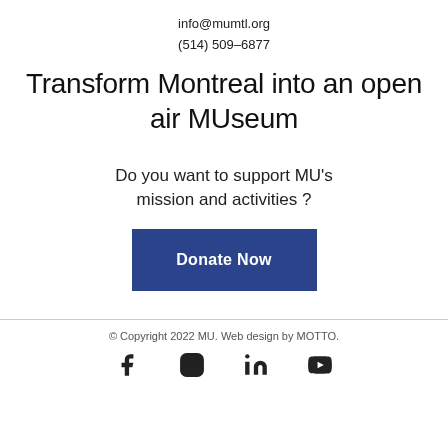info@mumtl.org
(514) 509-6877
Transform Montreal into an open air MUseum
Do you want to support MU's mission and activities ?
Donate Now
© Copyright 2022 MU. Web design by MOTTO.